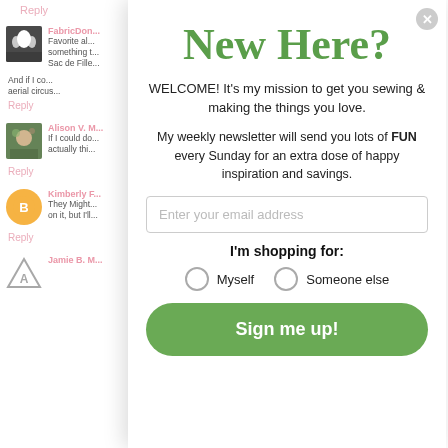Reply
FabricDon...
Favorite al... something t... Sac de Fille...
And if I co... aerial circus...
Reply
Alison V. M...
If I could do... actually thi...
Reply
Kimberly F...
They Might... on it, but I'll...
Reply
Jamie B. M...
New Here?
WELCOME! It's my mission to get you sewing & making the things you love.
My weekly newsletter will send you lots of FUN every Sunday for an extra dose of happy inspiration and savings.
Enter your email address
I'm shopping for:
Myself
Someone else
Sign me up!